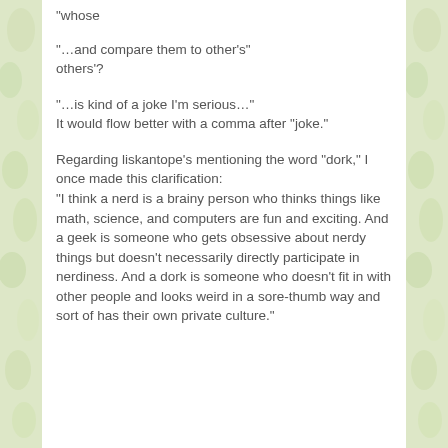“whose
“…and compare them to other’s” others’?
“…is kind of a joke I’m serious…”
It would flow better with a comma after “joke.”
Regarding liskantope’s mentioning the word “dork,” I once made this clarification:
“I think a nerd is a brainy person who thinks things like math, science, and computers are fun and exciting. And a geek is someone who gets obsessive about nerdy things but doesn’t necessarily directly participate in nerdiness. And a dork is someone who doesn’t fit in with other people and looks weird in a sore-thumb way and sort of has their own private culture.”